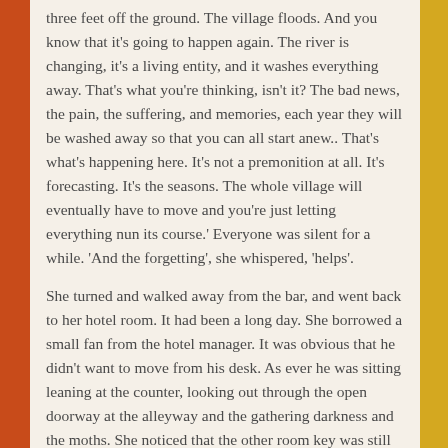three feet off the ground. The village floods. And you know that it's going to happen again. The river is changing, it's a living entity, and it washes everything away. That's what you're thinking, isn't it? The bad news, the pain, the suffering, and memories, each year they will be washed away so that you can all start anew.. That's what's happening here. It's not a premonition at all. It's forecasting. It's the seasons. The whole village will eventually have to move and you're just letting everything nun its course.' Everyone was silent for a while. 'And the forgetting', she whispered, 'helps'.
She turned and walked away from the bar, and went back to her hotel room. It had been a long day. She borrowed a small fan from the hotel manager. It was obvious that he didn't want to move from his desk. As ever he was sitting leaning at the counter, looking out through the open doorway at the alleyway and the gathering darkness and the moths. She noticed that the other room key was still hanging behind him, unused. The manager went to a cupboard and brought up this old thing with a wire covering over the blades that